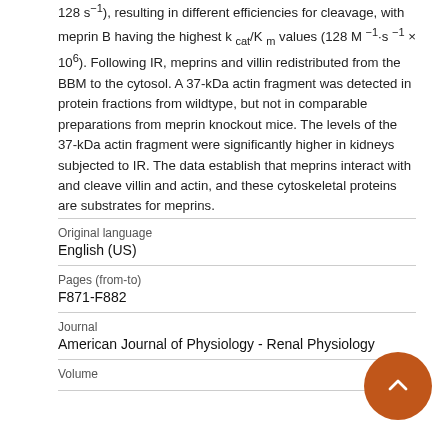128 s⁻¹), resulting in different efficiencies for cleavage, with meprin B having the highest k cat/K m values (128 M⁻¹·s⁻¹ × 10⁶). Following IR, meprins and villin redistributed from the BBM to the cytosol. A 37-kDa actin fragment was detected in protein fractions from wildtype, but not in comparable preparations from meprin knockout mice. The levels of the 37-kDa actin fragment were significantly higher in kidneys subjected to IR. The data establish that meprins interact with and cleave villin and actin, and these cytoskeletal proteins are substrates for meprins.
| Field | Value |
| --- | --- |
| Original language | English (US) |
| Pages (from-to) | F871-F882 |
| Journal | American Journal of Physiology - Renal Physiology |
| Volume |  |